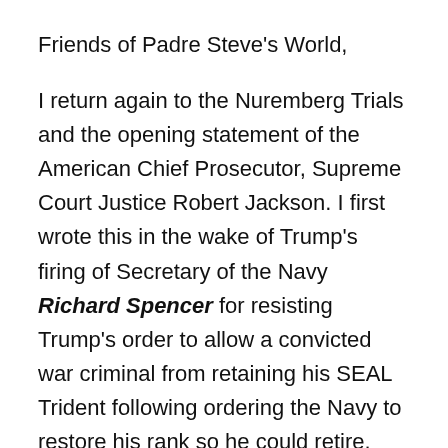Friends of Padre Steve's World,
I return again to the Nuremberg Trials and the opening statement of the American Chief Prosecutor, Supreme Court Justice Robert Jackson. I first wrote this in the wake of Trump's firing of Secretary of the Navy Richard Spencer for resisting Trump's order to allow a convicted war criminal from retaining his SEAL Trident following ordering the Navy to restore his rank so he could retire. During the same period of time Trump pardoned other convicted American war criminals whose crimes were unspeakable. Of course over the past year Trump used every Federal law enforcement agency he could to conduct surveillance with military aircraft, and then unleash violently attack mostly peaceful protestors in the wake of the murder of George Floyd, and arrest many without charges before during the...